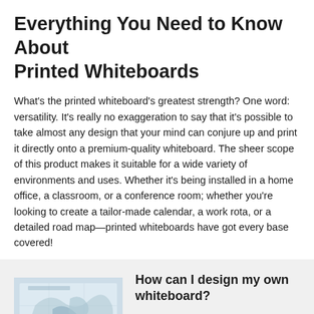Everything You Need to Know About Printed Whiteboards
What's the printed whiteboard's greatest strength? One word: versatility. It's really no exaggeration to say that it's possible to take almost any design that your mind can conjure up and print it directly onto a premium-quality whiteboard. The sheer scope of this product makes it suitable for a wide variety of environments and uses. Whether it's being installed in a home office, a classroom, or a conference room; whether you're looking to create a tailor-made calendar, a work rota, or a detailed road map—printed whiteboards have got every base covered!
[Figure (photo): Photo of a custom printed whiteboard showing a map design]
How can I design my own whiteboard?
If it's a custom printed whiteboard